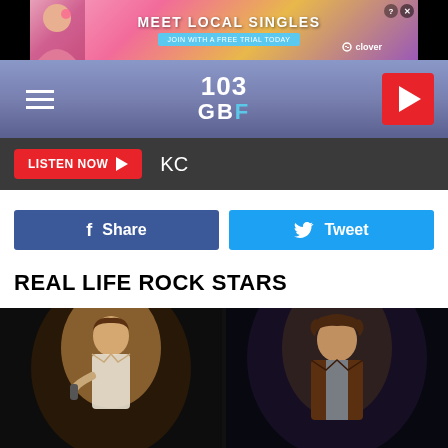[Figure (screenshot): Advertisement banner: MEET LOCAL SINGLES - JOIN WITH A FREE TRIAL TODAY - Clover app ad with woman photo]
[Figure (screenshot): 103 GBF radio station navigation bar with hamburger menu on left, 103 GBF logo in center, and red play button on right]
LISTEN NOW ► KC
[Figure (screenshot): Facebook Share button (dark blue) and Tweet button (light blue) social sharing buttons]
REAL LIFE ROCK STARS
[Figure (photo): Two side-by-side photos of rock stars (Jim Morrison) against dark backgrounds — left photo shows person in white shirt holding microphone, right photo shows person in brown leather jacket]